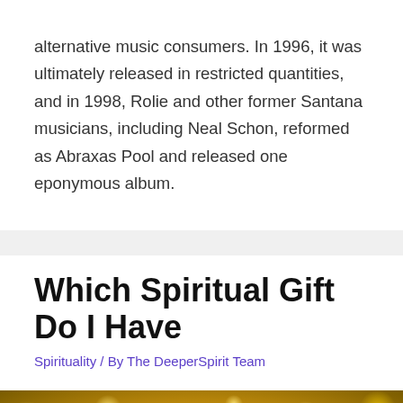alternative music consumers. In 1996, it was ultimately released in restricted quantities, and in 1998, Rolie and other former Santana musicians, including Neal Schon, reformed as Abraxas Pool and released one eponymous album.
Which Spiritual Gift Do I Have
Spirituality / By The DeeperSpirit Team
[Figure (photo): Stacked zen stones (balanced pebbles) against a bokeh golden/yellow background with soft blurred light orbs]